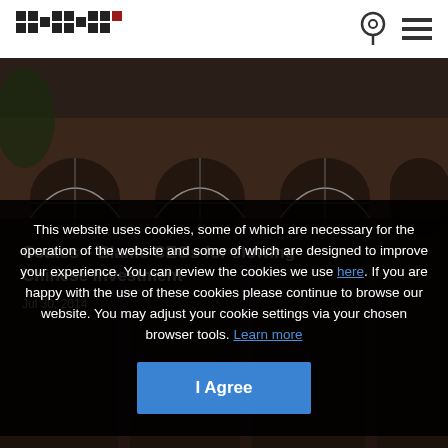HKS logo, location icon, menu icon
[Figure (photo): Background photo of a brick building with arched windows, dark atmospheric tone]
Coates – Blame CEOs for slowing Chinese investment
Jul 30, 2014
This website uses cookies, some of which are necessary for the operation of the website and some of which are designed to improve your experience. You can review the cookies we use here. If you are happy with the use of these cookies please continue to browse our website. You may adjust your cookie settings via your chosen browser tools. Learn more
I Agree